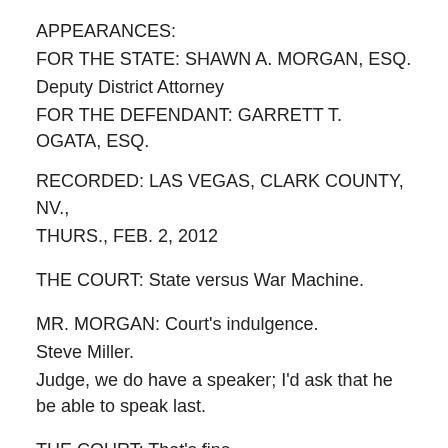APPEARANCES:
FOR THE STATE: SHAWN A. MORGAN, ESQ.
Deputy District Attorney
FOR THE DEFENDANT: GARRETT T. OGATA, ESQ.
RECORDED: LAS VEGAS, CLARK COUNTY, NV., THURS., FEB. 2, 2012
THE COURT: State versus War Machine.
MR. MORGAN: Court's indulgence.
Steve Miller.
Judge, we do have a speaker; I'd ask that he be able to speak last.
THE COURT: That's fine.
And, Mr. Morgan, what's the State's position? No opposition to reduction but the court is right to